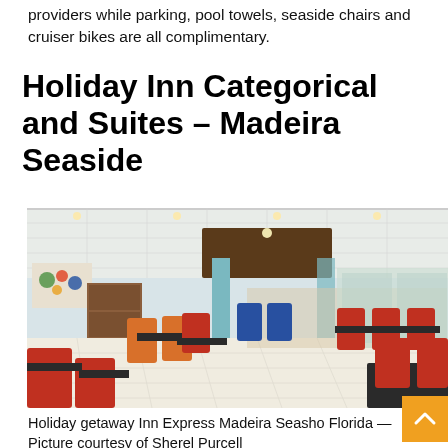providers while parking, pool towels, seaside chairs and cruiser bikes are all complimentary.
Holiday Inn Categorical and Suites – Madeira Seaside
[Figure (photo): Interior photo of Holiday Inn Express Madeira Beach hotel lobby/dining area with red, orange and blue chairs around dark tables, teal columns, white tile floor and large windows in background.]
Holiday getaway Inn Express Madeira Seasho Florida — Picture courtesy of Sherel Purcell